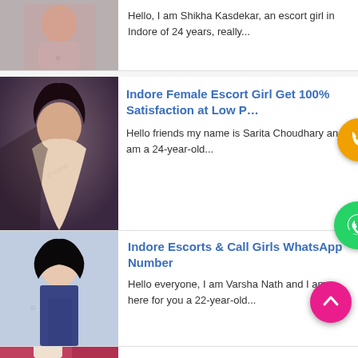[Figure (photo): Partial top card showing a woman with decorative top, cropped]
Hello, I am Shikha Kasdekar, an escort girl in Indore of 24 years, really...
[Figure (photo): Woman with dark hair, looking down, dark background]
Indore Female Escort Girl Get 100% Satisfaction at Low P...
Hello friends my name is Sarita Choudhary and I am a 24-year-old...
[Figure (photo): Young woman in navy blue dress with long black hair]
Indore Escorts & Call Girls WhatsApp Number
Hello everyone, I am Varsha Nath and I am here for you a 22-year-old...
[Figure (photo): Partial bottom card showing a woman with red background]
Indore Escorts Service & Call